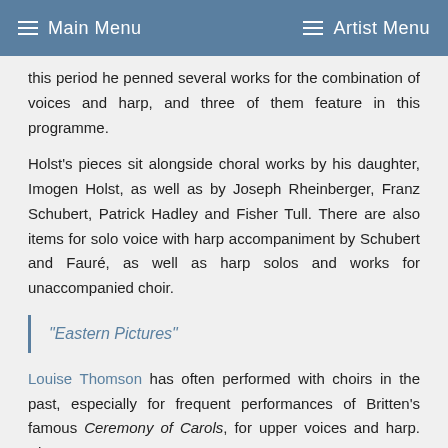Main Menu   Artist Menu
this period he penned several works for the combination of voices and harp, and three of them feature in this programme.
Holst's pieces sit alongside choral works by his daughter, Imogen Holst, as well as by Joseph Rheinberger, Franz Schubert, Patrick Hadley and Fisher Tull. There are also items for solo voice with harp accompaniment by Schubert and Fauré, as well as harp solos and works for unaccompanied choir.
"Eastern Pictures"
Louise Thomson has often performed with choirs in the past, especially for frequent performances of Britten's famous Ceremony of Carols, for upper voices and harp. She